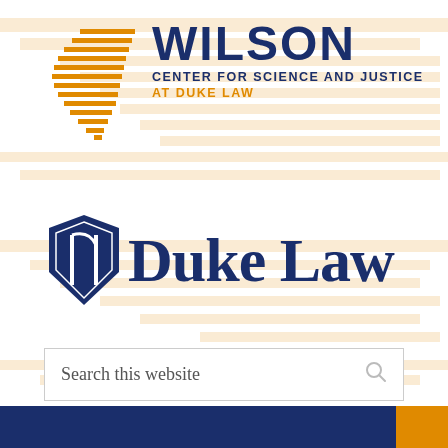[Figure (logo): Wilson Center for Science and Justice at Duke Law logo with orange chevron/wing icon and navy text]
[Figure (logo): Duke Law logo with navy Duke shield icon and serif text 'Duke Law']
Search this website
[Figure (other): Navy blue bottom bar with orange accent square at bottom right corner]